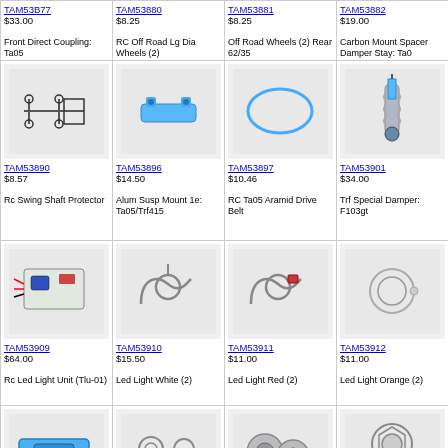| Col1 | Col2 | Col3 | Col4 | Col5 |
| --- | --- | --- | --- | --- |
| TAM53B77 $33.00 Front Direct Coupling: Ta05 | TAM53880 $8.25 RC Off Road Lg Dia Wheels (2) | TAM53881 $8.25 Off Road Wheels (2) Rear 62/35 | TAM53882 $19.00 Carbon Mount Spacer Damper Stay: Ta0 | TAM538... RC Ma... (Graffiti) |
| TAM53890 $8.57 Rc Swing Shaft Protector | TAM53896 $14.50 Alum Susp Mount 1e: Ta05/Trf415 | TAM53897 $10.46 RC Ta05 Aramid Drive Belt | TAM53901 $34.00 Trf Special Damper: F103gt | TAM539... RC 5x8... Alumin... Connec... Head |
| TAM53909 $64.00 Rc Led Light Unit (Tlu-01) | TAM53910 $15.50 Led Light White (2) | TAM53911 $11.00 Led Light Red (2) | TAM53912 $11.00 Led Light Orange (2) | TAM539... RC Fro... Alumin... Adapter |
| TAM53920 $82.00 Rc Ta05 Alum Motor Mount | TAM53921 $34.00 Rc Trf415 Fnt Alum Diff Joints | TAM53923 $12.50 RC 05 Pinion Gear (27T 29T) | TAM53925 $47.00 RC DF03 Slipper Set | TAM539... Electric Brushed Stock B... |
| TAM53932 $10.00 RC Aluminum Roll Center Spacer - ... | TAM53936 $7.75 Alternatedfr One-Way Pulley 36t | TAM53937 $102.00 Led Light Control Unit Tlu-02 | TAM53940 $36.40 Rc Hard Turnbuckle Shaft Set, for Df-03 | TAM539... RC Pro... 58055 |